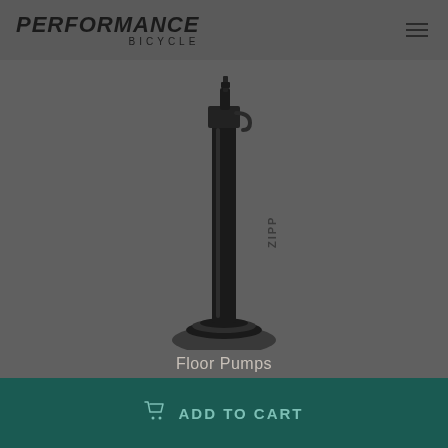PERFORMANCE BICYCLE
[Figure (photo): A black bicycle floor pump (Zipp brand) standing upright on a circular base, photographed against a dark gray background.]
Floor Pumps
ADD TO CART